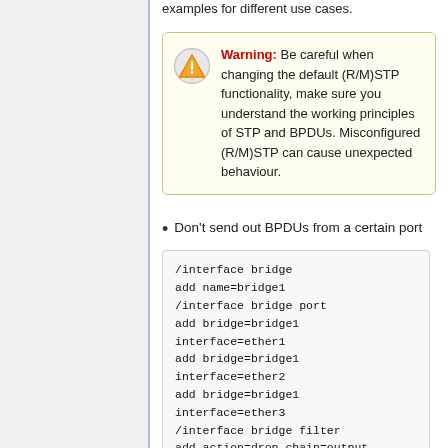examples for different use cases.
Warning: Be careful when changing the default (R/M)STP functionality, make sure you understand the working principles of STP and BPDUs. Misconfigured (R/M)STP can cause unexpected behaviour.
Don't send out BPDUs from a certain port
/interface bridge
add name=bridge1
/interface bridge port
add bridge=bridge1
interface=ether1
add bridge=bridge1
interface=ether2
add bridge=bridge1
interface=ether3
/interface bridge filter
add action=drop chain=output
dst-mac-
address=01:80:C2:00:00:00/FF:FF